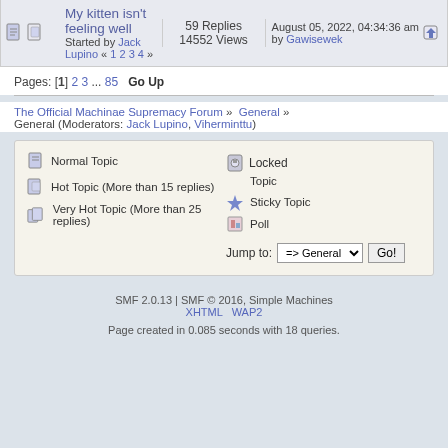| Icon | Topic | Replies/Views | Last Post |
| --- | --- | --- | --- |
| [icons] | My kitten isn't feeling well
Started by Jack Lupino « 1 2 3 4 » | 59 Replies
14552 Views | August 05, 2022, 04:34:36 am
by Gawisewek |
Pages: [1] 2 3 ... 85  Go Up
The Official Machinae Supremacy Forum » General » General (Moderators: Jack Lupino, Viherminttu)
Normal Topic
Hot Topic (More than 15 replies)
Very Hot Topic (More than 25 replies)
Locked Topic
Sticky Topic
Poll
Jump to: => General  Go!
SMF 2.0.13 | SMF © 2016, Simple Machines
XHTML  WAP2
Page created in 0.085 seconds with 18 queries.